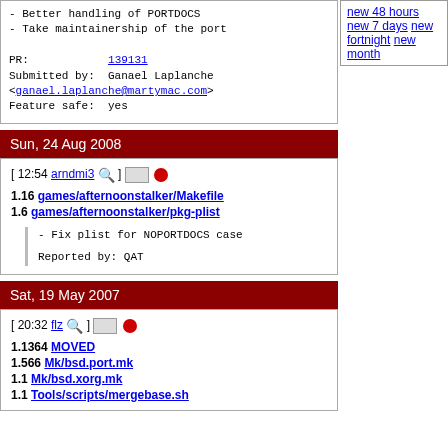- Better handling of PORTDOCS
- Take maintainership of the port

PR:            139131
Submitted by:  Ganael Laplanche <ganael.laplanche@martymac.com>
Feature safe:  yes
new 48 hours
new 7 days
new fortnight
new month
Sun, 24 Aug 2008
[ 12:54 arndmi3 🔍 ] ☰ 🔴
1.16 games/afternoonstalker/Makefile
1.6 games/afternoonstalker/pkg-plist
- Fix plist for NOPORTDOCS case

Reported by:    QAT
Sat, 19 May 2007
[ 20:32 flz 🔍 ] ☰ 🔴
1.1364 MOVED
1.566 Mk/bsd.port.mk
1.1 Mk/bsd.xorg.mk
1.1 Tools/scripts/mergebase.sh